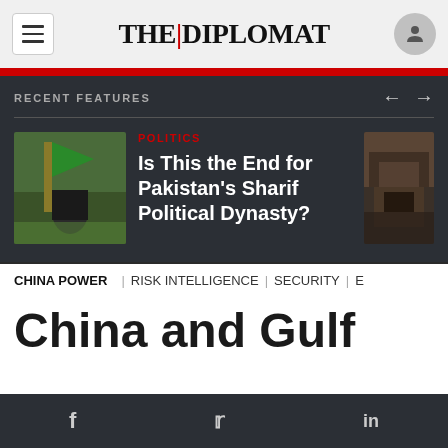THE DIPLOMAT
RECENT FEATURES
[Figure (photo): Person holding green flag at outdoor rally]
POLITICS
Is This the End for Pakistan's Sharif Political Dynasty?
[Figure (photo): Damaged interior of a building after an incident]
CHINA POWER | RISK INTELLIGENCE | SECURITY | E
China and Gulf
f  Twitter  in